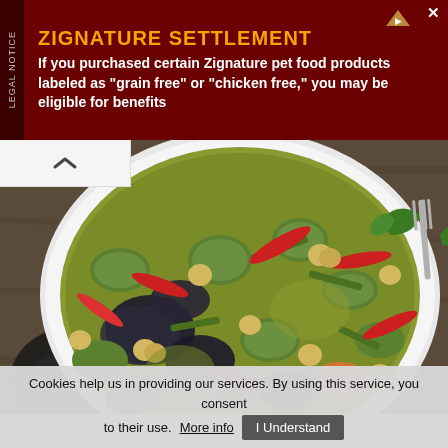[Figure (infographic): Advertisement banner with dark red background. Left side has vertical 'LEGAL NOTICE' tab. Title 'ZIGNATURE SETTLEMENT' in orange/gold uppercase text. Body text: 'If you purchased certain Zignature pet food products labeled as "grain free" or "chicken free," you may be eligible for benefits'. Small icon and close button on top right.]
[Figure (photo): Food photo: a white bowl/plate of green curry with vegetables including sliced zucchini/eggplant (dark purple), chickpeas, red chili peppers, green beans, green basil leaves, on a wooden table background.]
Cookies help us in providing our services. By using this service, you consent to their use. More info   I Understand